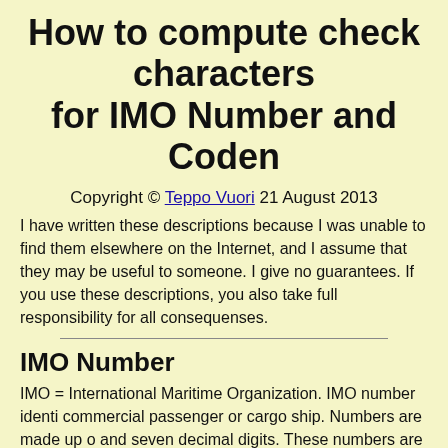How to compute check characters for IMO Number and Coden
Copyright © Teppo Vuori 21 August 2013
I have written these descriptions because I was unable to find them elsewhere on the Internet, and I assume that they may be useful to someone. I give no guarantees. If you use these descriptions, you also take full responsibility for all consequenses.
IMO Number
IMO = International Maritime Organization. IMO number identi commercial passenger or cargo ship. Numbers are made up o and seven decimal digits. These numbers are given by IHS Fa formerly Lloyd's Register - Fairplay Ltd. The number is clearly the side or stern of a cargo ship and on the top of a passenge